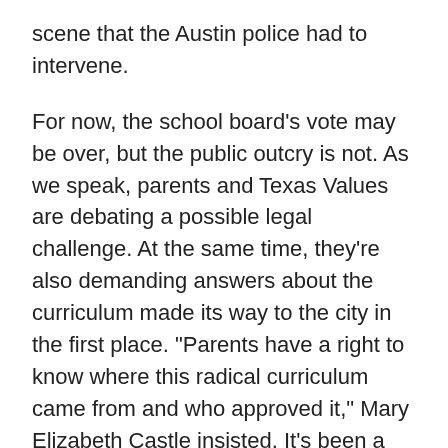scene that the Austin police had to intervene.
For now, the school board's vote may be over, but the public outcry is not. As we speak, parents and Texas Values are debating a possible legal challenge. At the same time, they're also demanding answers about the curriculum made its way to the city in the first place. "Parents have a right to know where this radical curriculum came from and who approved it," Mary Elizabeth Castle insisted. It's been a rushed and secretive process, they say, and the majority of input has been ignored. If Austin has nothing to hide, let them prove it.
And thanks to a new Freedom of Information